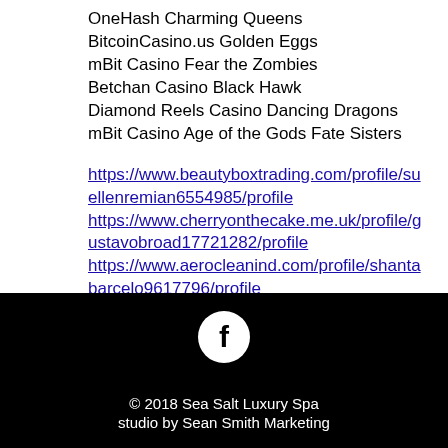OneHash Charming Queens
BitcoinCasino.us Golden Eggs
mBit Casino Fear the Zombies
Betchan Casino Black Hawk
Diamond Reels Casino Dancing Dragons
mBit Casino Age of the Gods Fate Sisters
https://www.beautyboxtrading.com/profile/suellenremian6554985/profile https://www.cherryonthecake.me.uk/profile/gustavobroad17721282/profile https://www.aerocleanind.com/profile/shantabarcelo9617796/profile https://www.japanhire.tokyo/profile/ramonasifford3767534/profile
© 2018 Sea Salt Luxury Spa studio by Sean Smith Marketing